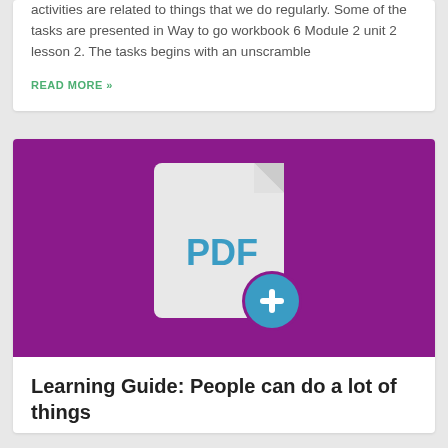activities are related to things that we do regularly. Some of the tasks are presented in Way to go workbook 6 Module 2 unit 2 lesson 2. The tasks begins with an unscramble
READ MORE »
[Figure (illustration): Purple/magenta background banner with a white PDF document icon and a teal/blue circle with a plus sign in the lower right of the document icon]
Learning Guide: People can do a lot of things